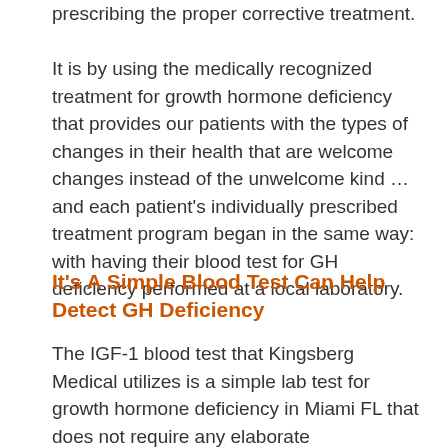prescribing the proper corrective treatment.
It is by using the medically recognized treatment for growth hormone deficiency that provides our patients with the types of changes in their health that are welcome changes instead of the unwelcome kind … and each patient's individually prescribed treatment program began in the same way: with having their blood test for GH deficiency performed at a local laboratory.
It's A Simple Blood Test Can Help Detect GH Deficiency
The IGF-1 blood test that Kingsberg Medical utilizes is a simple lab test for growth hormone deficiency in Miami FL that does not require any elaborate preparations from the patients taking it. In this way, it actually sets the tone for their treatment because there is nothing that is overly complicated or unduly perplexing about restoring an